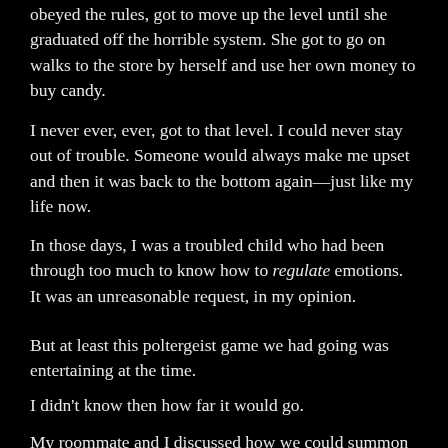obeyed the rules, got to move up the level until she graduated off the horrible system. She got to go on walks to the store by herself and use her own money to buy candy.
I never ever, ever, got to that level. I could never stay out of trouble. Someone would always make me upset and then it was back to the bottom again—just like my life now.
In those days, I was a troubled child who had been through too much to know how to regulate emotions. It was an unreasonable request, in my opinion.
But at least this poltergeist game we had going was entertaining at the time.
I didn't know then how far it would go.
My roommate and I discussed how we could summon the poltergeist and maybe make requests. Would it bring us more